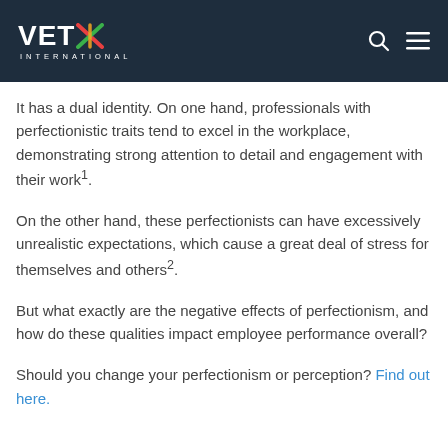VETx INTERNATIONAL
It has a dual identity. On one hand, professionals with perfectionistic traits tend to excel in the workplace, demonstrating strong attention to detail and engagement with their work¹.
On the other hand, these perfectionists can have excessively unrealistic expectations, which cause a great deal of stress for themselves and others².
But what exactly are the negative effects of perfectionism, and how do these qualities impact employee performance overall?
Should you change your perfectionism or perception? Find out here.